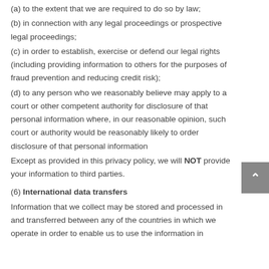(a) to the extent that we are required to do so by law;
(b) in connection with any legal proceedings or prospective legal proceedings;
(c) in order to establish, exercise or defend our legal rights (including providing information to others for the purposes of fraud prevention and reducing credit risk);
(d) to any person who we reasonably believe may apply to a court or other competent authority for disclosure of that personal information where, in our reasonable opinion, such court or authority would be reasonably likely to order disclosure of that personal information
Except as provided in this privacy policy, we will NOT provide your information to third parties.
(6) International data transfers
Information that we collect may be stored and processed in and transferred between any of the countries in which we operate in order to enable us to use the information in